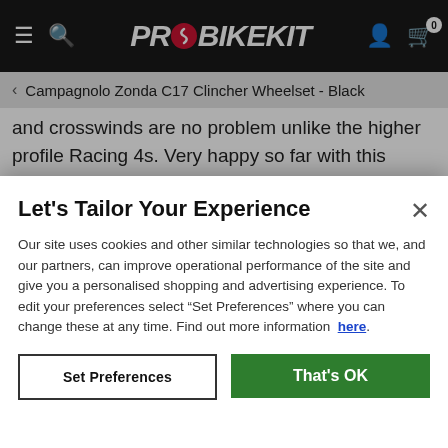PROBIKEKIT
Campagnolo Zonda C17 Clincher Wheelset - Black
and crosswinds are no problem unlike the higher profile Racing 4s. Very happy so far with this purchase... and yes,I know Shamal has ceramic bearings and Zonda Rear doesn't. Viva La Ca...!!!
WELCOME
It looks like you are in the USA, would you like to see our US site with $USD currency?
Let's Tailor Your Experience
Our site uses cookies and other similar technologies so that we, and our partners, can improve operational performance of the site and give you a personalised shopping and advertising experience. To edit your preferences select “Set Preferences” where you can change these at any time. Find out more information here.
Set Preferences
That's OK